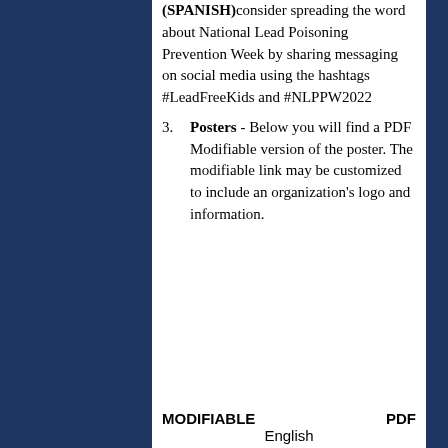(SPANISH) consider spreading the word about National Lead Poisoning Prevention Week by sharing messaging on social media using the hashtags #LeadFreeKids and #NLPPW2022
Posters - Below you will find a PDF Modifiable version of the poster. The modifiable link may be customized to include an organization's logo and information.
MODIFIABLE    PDF    English